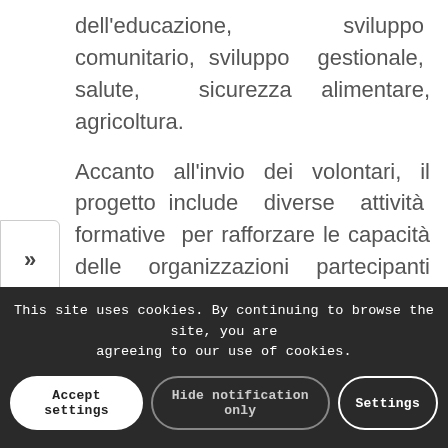dell'educazione, sviluppo comunitario, sviluppo gestionale, salute, sicurezza alimentare, agricoltura.
Accanto all'invio dei volontari, il progetto include diverse attività formative per rafforzare le capacità delle organizzazioni partecipanti nella gestione dei volontari.
Partner di progetto e volontari assicureranno lo svolgimento di attività di diffusione e e promozione delle attività promozione denominative.
This site uses cookies. By continuing to browse the site, you are agreeing to our use of cookies.